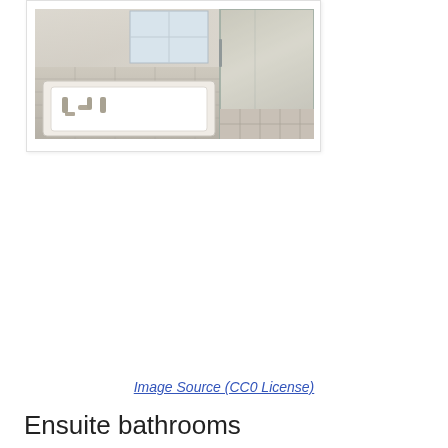[Figure (photo): Bathroom with a white soaking bathtub with brushed nickel faucet, marble/stone tile surround, and a glass-enclosed shower stall in the background, with a window letting in natural light.]
Image Source (CC0 License)
Ensuite bathrooms